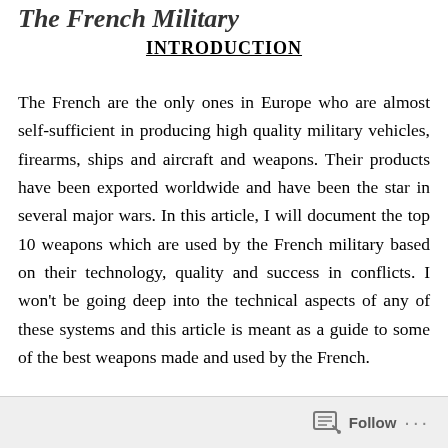The French Military
INTRODUCTION
The French are the only ones in Europe who are almost self-sufficient in producing high quality military vehicles, firearms, ships and aircraft and weapons. Their products have been exported worldwide and have been the star in several major wars. In this article, I will document the top 10 weapons which are used by the French military based on their technology, quality and success in conflicts. I won't be going deep into the technical aspects of any of these systems and this article is meant as a guide to some of the best weapons made and used by the French.
Follow ...